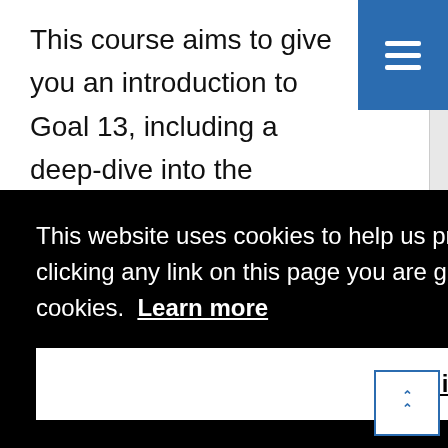This course aims to give you an introduction to Goal 13, including a deep-dive into the magnitude of the problems caused by climate change, what needs to be done, and what progress has been made to address it. While Goal 13 emphasizes actions at high
This website uses cookies to help us provide you a better experience. By clicking any link on this page you are giving your consent for us to set cookies. Learn more
Got it!